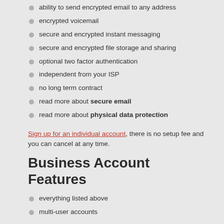ability to send encrypted email to any address
encrypted voicemail
secure and encrypted instant messaging
secure and encrypted file storage and sharing
optional two factor authentication
independent from your ISP
no long term contract
read more about secure email
read more about physical data protection
Sign up for an individual account, there is no setup fee and you can cancel at any time.
Business Account Features
everything listed above
multi-user accounts